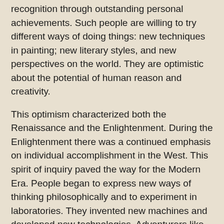recognition through outstanding personal achievements. Such people are willing to try different ways of doing things: new techniques in painting; new literary styles, and new perspectives on the world. They are optimistic about the potential of human reason and creativity.
This optimism characterized both the Renaissance and the Enlightenment. During the Enlightenment there was a continued emphasis on individual accomplishment in the West. This spirit of inquiry paved the way for the Modern Era. People began to express new ways of thinking philosophically and to experiment in laboratories. They invented new machines and developed new technologies. Adventurers like Charles Darwin explored distant lands and encountered unfamiliar species of plants and animals.
As during the Renaissance and the Enlightenment, the great breakthroughs of the Modern Era were the result of individual achievements. Consider this list of significant contributions made by individuals between 1605 and 1775:
Johannes Kepler discovered first law of planetary